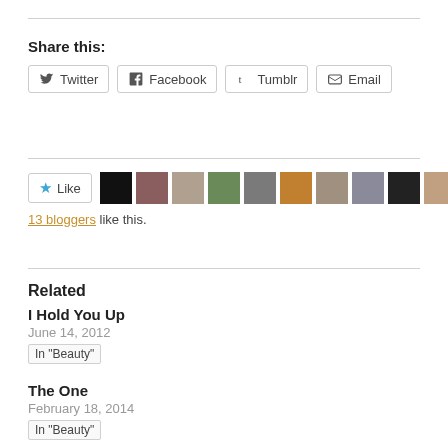Share this:
Twitter  Facebook  Tumblr  Email
[Figure (other): Like button with 13 bloggers avatar thumbnails]
13 bloggers like this.
Related
I Hold You Up
June 14, 2012
In "Beauty"
The One
February 18, 2014
In "Beauty"